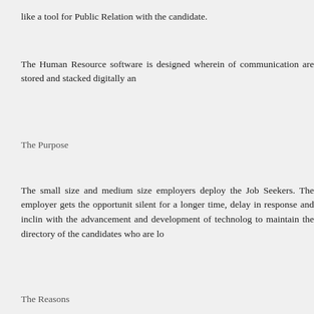like a tool for Public Relation with the candidate.
The Human Resource software is designed wherein of communication are stored and stacked digitally an
The Purpose
The small size and medium size employers deploy the Job Seekers. The employer gets the opportunit silent for a longer time, delay in response and inclin with the advancement and development of technolog to maintain the directory of the candidates who are lo
The Reasons
As per some trusted sources, it seems the unemplo find an employer because they are very few in numb related. The same thing is applied to the recruitment
There are 3 reasons which would help us to under